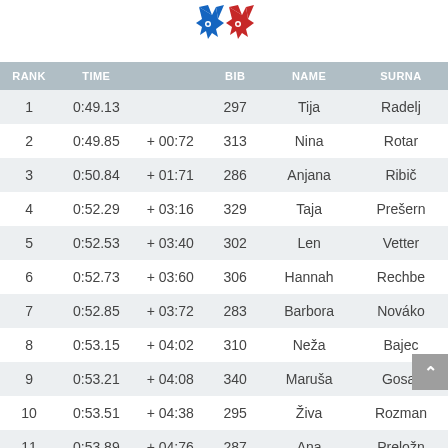[Figure (logo): Red and blue fox/animal face logo for what appears to be a sports event or federation]
| RANK | TIME |  | BIB | NAME | SURNA |
| --- | --- | --- | --- | --- | --- |
| 1 | 0:49.13 |  | 297 | Tija | Radelj |
| 2 | 0:49.85 | + 00:72 | 313 | Nina | Rotar |
| 3 | 0:50.84 | + 01:71 | 286 | Anjana | Ribič |
| 4 | 0:52.29 | + 03:16 | 329 | Taja | Prešern |
| 5 | 0:52.53 | + 03:40 | 302 | Len | Vetter |
| 6 | 0:52.73 | + 03:60 | 306 | Hannah | Rechbe |
| 7 | 0:52.85 | + 03:72 | 283 | Barbora | Nováko |
| 8 | 0:53.15 | + 04:02 | 310 | Neža | Bajec |
| 9 | 0:53.21 | + 04:08 | 340 | Maruša | Gosar |
| 10 | 0:53.51 | + 04:38 | 295 | Živa | Rozman |
| 11 | 0:53.89 | + 04:76 | 287 | Ana | Preložn |